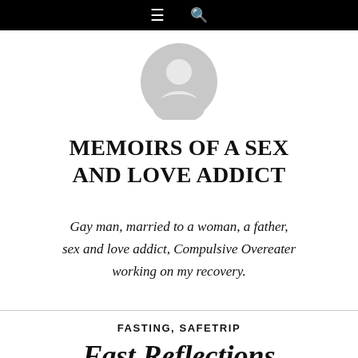≡  🔍
[Figure (illustration): Generic gray user avatar icon — a circle with a person silhouette]
MEMOIRS OF A SEX AND LOVE ADDICT
Gay man, married to a woman, a father, sex and love addict, Compulsive Overeater working on my recovery.
FASTING, SAFETRIP
Fast Reflections